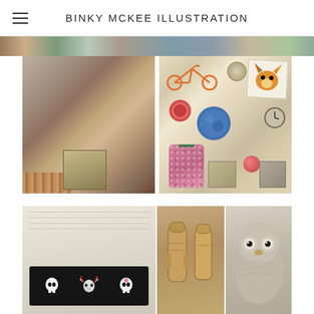BINKY MCKEE ILLUSTRATION
[Figure (photo): Top strip showing cropped photos of interior decorative objects and colorful items]
[Figure (photo): Large middle-left photo showing eclectic interior with cushions, armchair, lamp, and decorative wooden crate]
[Figure (illustration): Middle-right mood board with illustrations of a bicycle, fox, red circle, blue circle, clock, floral coat, red ball, coins, and small thumbnail photos on beige background]
[Figure (photo): Bottom strip with three panels: left panel showing handwritten notes and a skull art board with decorated skulls; middle panel showing carved wooden/ceramic figurines; right panel showing close-up of a bird's face]